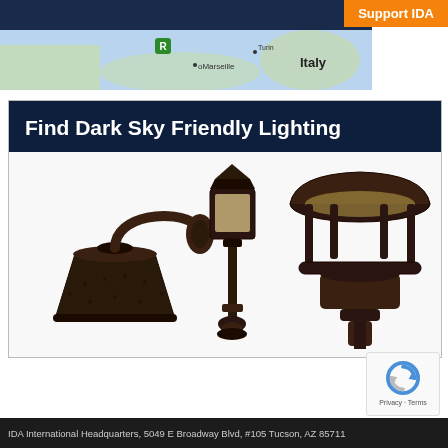[Figure (screenshot): Orange 'Support IDA' button in top right corner]
[Figure (map): Map screenshot showing Mediterranean region with Marseille and Italy labels, dark navy header bar]
[Figure (infographic): Dark navy banner reading 'Find Dark Sky Friendly Lighting' with three dark outdoor light fixture product images below: a wall-mount lantern, a post lamp, and a decorative post top fixture]
[Figure (logo): reCAPTCHA badge with circular arrow icon and 'Privacy - Terms' text]
IDA International Headquarters, 5049 E Broadway Blvd, #105 Tucson, AZ 85711